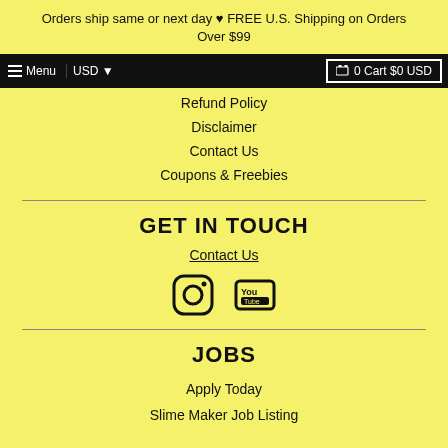Orders ship same or next day ♥ FREE U.S. Shipping on Orders Over $99
☰ Menu | USD ▼ | 🛒 0 Cart $0 USD
Refund Policy
Disclaimer
Contact Us
Coupons & Freebies
GET IN TOUCH
Contact Us
[Figure (infographic): Instagram and YouTube social media icons]
JOBS
Apply Today
Slime Maker Job Listing